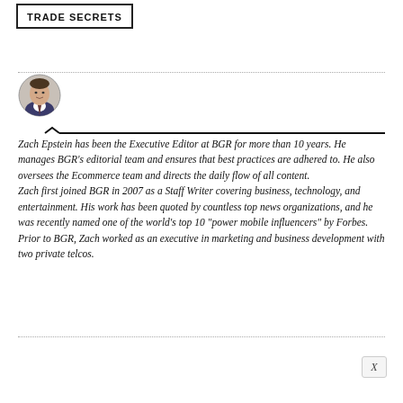TRADE SECRETS
[Figure (photo): Circular headshot photo of Zach Epstein, a man in a suit and tie]
Zach Epstein has been the Executive Editor at BGR for more than 10 years. He manages BGR's editorial team and ensures that best practices are adhered to. He also oversees the Ecommerce team and directs the daily flow of all content.
Zach first joined BGR in 2007 as a Staff Writer covering business, technology, and entertainment. His work has been quoted by countless top news organizations, and he was recently named one of the world's top 10 “power mobile influencers” by Forbes. Prior to BGR, Zach worked as an executive in marketing and business development with two private telcos.